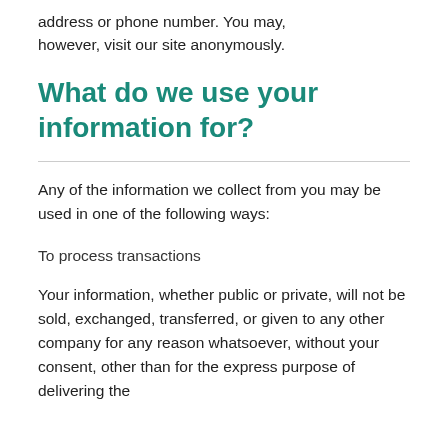address or phone number. You may, however, visit our site anonymously.
What do we use your information for?
Any of the information we collect from you may be used in one of the following ways:
To process transactions
Your information, whether public or private, will not be sold, exchanged, transferred, or given to any other company for any reason whatsoever, without your consent, other than for the express purpose of delivering the